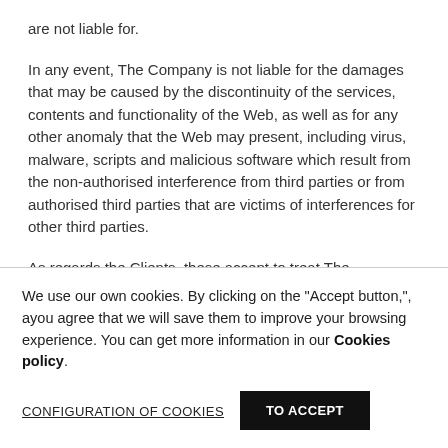are not liable for.
In any event, The Company is not liable for the damages that may be caused by the discontinuity of the services, contents and functionality of the Web, as well as for any other anomaly that the Web may present, including virus, malware, scripts and malicious software which result from the non-authorised interference from third parties or from authorised third parties that are victims of interferences for other third parties.
As regards the Clients, these accept to treat The
We use our own cookies. By clicking on the "Accept button,", ayou agree that we will save them to improve your browsing experience. You can get more information in our Cookies policy.
CONFIGURATION OF COOKIES
TO ACCEPT